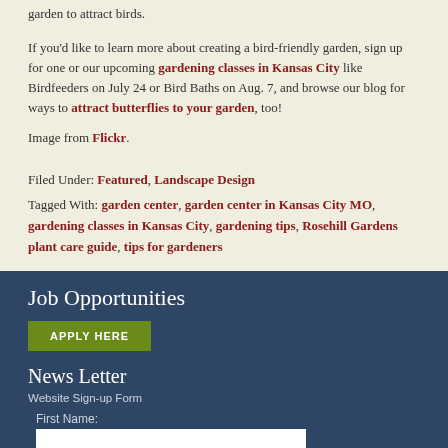garden to attract birds.
If you'd like to learn more about creating a bird-friendly garden, sign up for one or our upcoming gardening classes in Kansas City like Birdfeeders on July 24 or Bird Baths on Aug. 7, and browse our blog for ways to attract butterflies to your garden, too!
Image from Flickr.
Filed Under: Featured, Landscape Design
Tagged With: garden center, garden center in Kansas City MO, gardening classes in Kansas City, gardening tips, Rosehill Gardens plant care guide, tips for gardeners
Job Opportunities
APPLY HERE
News Letter
Website Sign-up Form
First Name:
Last Name: